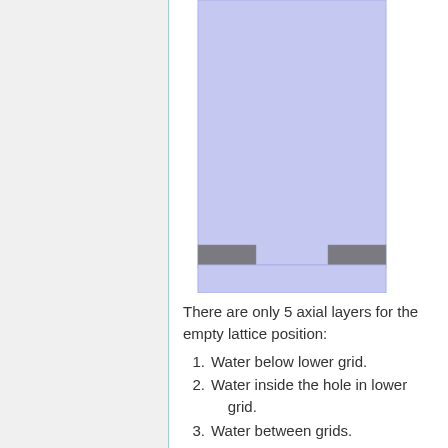[Figure (schematic): Partial engineering diagram of an empty lattice position showing a tall rectangular violet/lavender region (water region) with two small dark gray rectangular elements at the bottom left and bottom right, representing grid plates with holes. The diagram is cropped at the top.]
There are only 5 axial layers for the empty lattice position:
Water below lower grid.
Water inside the hole in lower grid.
Water between grids.
Water inside the hole in upper grid.
Water above upper grid.